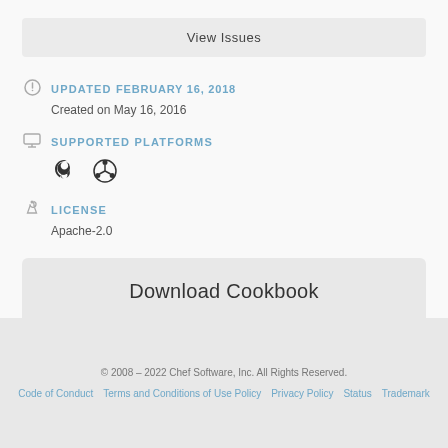View Issues
UPDATED FEBRUARY 16, 2018
Created on May 16, 2016
SUPPORTED PLATFORMS
[Figure (illustration): Debian and Ubuntu platform icons]
LICENSE
Apache-2.0
Download Cookbook
© 2008 – 2022 Chef Software, Inc. All Rights Reserved. Code of Conduct  Terms and Conditions of Use Policy  Privacy Policy  Status  Trademark